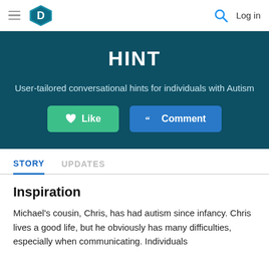D — Log in
HINT
User-tailored conversational hints for individuals with Autism
Like   Comment
STORY   UPDATES
Inspiration
Michael's cousin, Chris, has had autism since infancy. Chris lives a good life, but he obviously has many difficulties, especially when communicating. Individuals